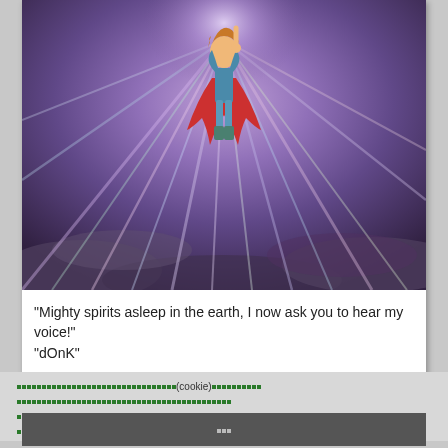[Figure (illustration): Anime character with red cape flying upward with colorful radiant light rays emanating outward against a purple/grey cloudy sky background]
"Mighty spirits asleep in the earth, I now ask you to hear my voice!"
"dOnK"
Doink　dOnK　　　　　　　　　　　　　　　　　　　donk　　　　donk
(cookie)